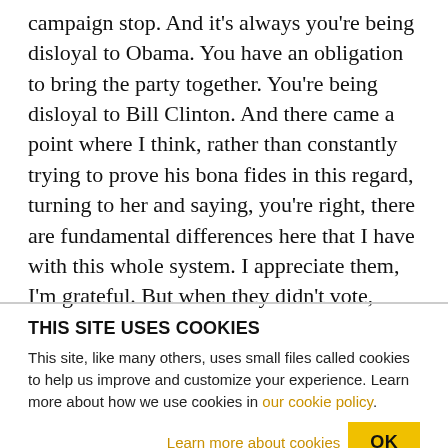campaign stop. And it's always you're being disloyal to Obama. You have an obligation to bring the party together. You're being disloyal to Bill Clinton. And there came a point where I think, rather than constantly trying to prove his bona fides in this regard, turning to her and saying, you're right, there are fundamental differences here that I have with this whole system. I appreciate them, I'm grateful. But when they didn't vote, when the President didn't vote to raise the minimum wage in 2009 when he had the votes, when we didn't bailout the homeowners along
THIS SITE USES COOKIES
This site, like many others, uses small files called cookies to help us improve and customize your experience. Learn more about how we use cookies in our cookie policy.
Learn more about cookies